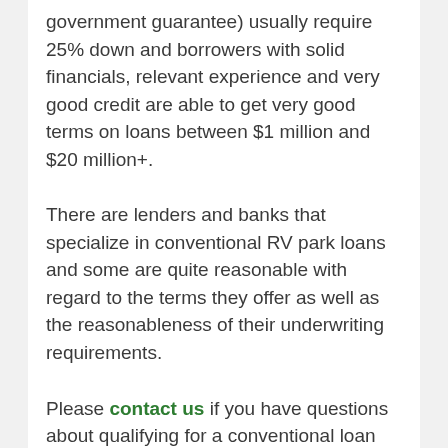government guarantee) usually require 25% down and borrowers with solid financials, relevant experience and very good credit are able to get very good terms on loans between $1 million and $20 million+.
There are lenders and banks that specialize in conventional RV park loans and some are quite reasonable with regard to the terms they offer as well as the reasonableness of their underwriting requirements.
Please contact us if you have questions about qualifying for a conventional loan and/or possible terms.
SBA RV Park Loans